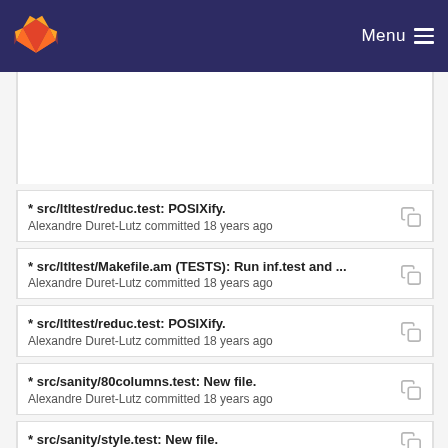GitLab — Menu
* src/ltltest/reduc.test: POSIXify.
Alexandre Duret-Lutz committed 18 years ago
* src/ltltest/Makefile.am (TESTS): Run inf.test and ...
Alexandre Duret-Lutz committed 18 years ago
* src/ltltest/reduc.test: POSIXify.
Alexandre Duret-Lutz committed 18 years ago
* src/sanity/80columns.test: New file.
Alexandre Duret-Lutz committed 18 years ago
* src/sanity/style.test: New file.